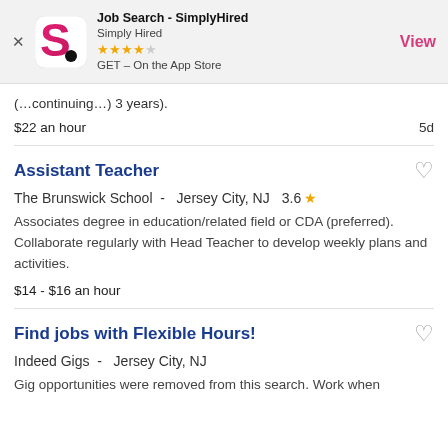[Figure (screenshot): App Store banner for Job Search - SimplyHired app showing logo, 4-star rating, and View button]
(continuing text)... 3 years).
$22 an hour   5d
Assistant Teacher
The Brunswick School -  Jersey City, NJ   3.6 ★
Associates degree in education/related field or CDA (preferred). Collaborate regularly with Head Teacher to develop weekly plans and activities.
$14 - $16 an hour
Find jobs with Flexible Hours!
Indeed Gigs -  Jersey City, NJ
Gig opportunities were removed from this search. Work when